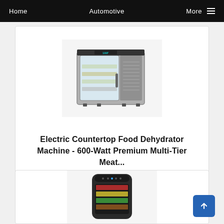Home   Automotive   More
[Figure (photo): Electric countertop food dehydrator machine, stainless steel with glass door and multiple trays]
Electric Countertop Food Dehydrator Machine - 600-Watt Premium Multi-Tier Meat...
Shop Now
[Figure (photo): Black cylindrical food dehydrator with digital display and multiple trays showing colorful dried foods]